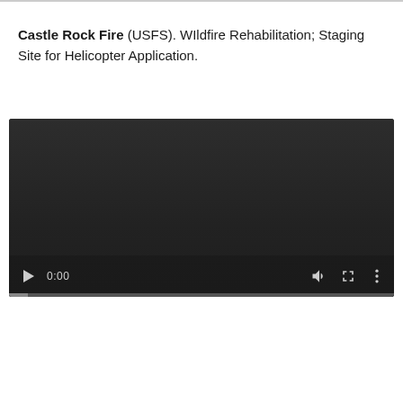Castle Rock Fire (USFS). WIldfire Rehabilitation; Staging Site for Helicopter Application.
[Figure (screenshot): Embedded video player showing a dark/black screen with playback controls at the bottom: play button, time display showing 0:00, volume icon, fullscreen icon, and more options icon. A progress bar is visible at the very bottom.]